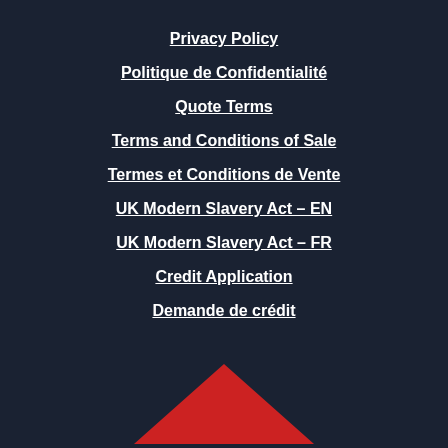Privacy Policy
Politique de Confidentialité
Quote Terms
Terms and Conditions of Sale
Termes et Conditions de Vente
UK Modern Slavery Act – EN
UK Modern Slavery Act – FR
Credit Application
Demande de crédit
[Figure (illustration): Red upward-pointing chevron/triangle shape at the bottom center of the page]